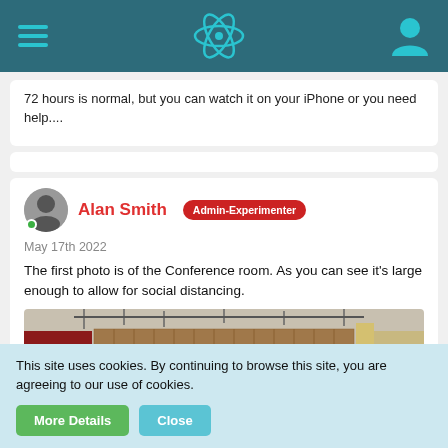Navigation bar with hamburger menu, atom/react icon, and user icon
72 hours is normal, but you can watch it on your iPhone or you need help....
Alan Smith  Admin-Experimenter
May 17th 2022
The first photo is of the Conference room. As you can see it's large enough to allow for social distancing.
[Figure (photo): Interior of a conference room showing ceiling rigging, red and wood-panel walls, and open floor space for social distancing.]
This site uses cookies. By continuing to browse this site, you are agreeing to our use of cookies.